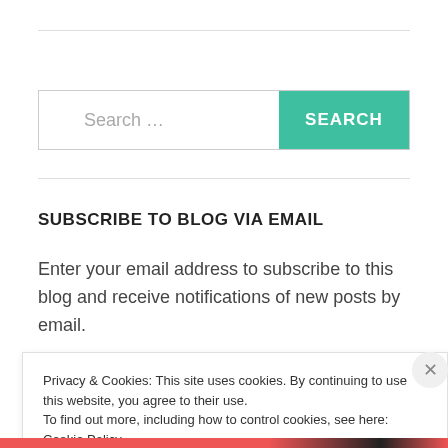[Figure (screenshot): Search bar with placeholder text 'Search ...' and a teal 'SEARCH' button]
SUBSCRIBE TO BLOG VIA EMAIL
Enter your email address to subscribe to this blog and receive notifications of new posts by email.
Privacy & Cookies: This site uses cookies. By continuing to use this website, you agree to their use. To find out more, including how to control cookies, see here: Cookie Policy
Close and accept